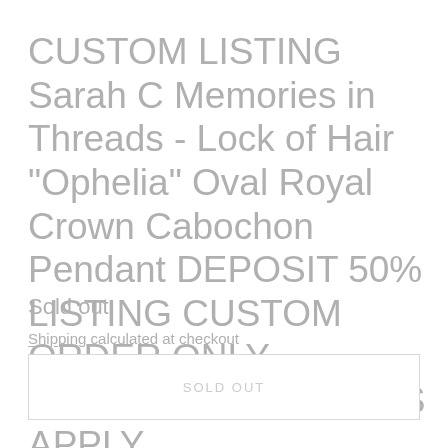CUSTOM LISTING Sarah C Memories in Threads - Lock of Hair "Ophelia" Oval Royal Crown Cabochon Pendant DEPOSIT 50% LISTING CUSTOM ORDER ONLY, CUSTOM MAKE TIMES APPLY.
Sold out
Shipping calculated at checkout
SOLD OUT